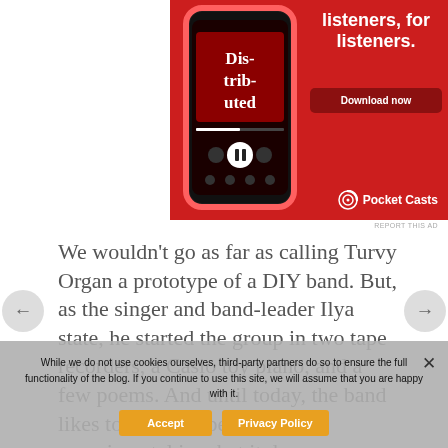[Figure (screenshot): Pocket Casts app advertisement on red background. Shows a smartphone displaying a podcast player with the text 'Dis-trib-uted' on screen. Right side shows text 'listeners, for listeners.' with a 'Download now' button and the Pocket Casts logo.]
REPORT THIS AD
We wouldn't go as far as calling Turvy Organ a prototype of a DIY band. But, as the singer and band-leader Ilya state, he started the group in two tape recorders, a Casio toy piano, and a few poems. And until today, the band likes to stay independent and experimental in what it does.
While we do not use cookies ourselves, third-party partners do so to ensure the full functionality of the blog. If you continue to use this site, we will assume that you are happy with it.